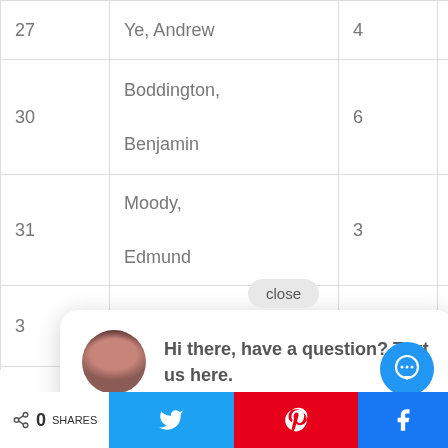| # | Name | Count |  |
| --- | --- | --- | --- |
| 27 | Ye, Andrew | 4 |  |
| 30 | Boddington, Benjamin | 6 |  |
| 31 | Moody, Edmund | 3 |  |
| 3 | Lee, | 4 |  |
| 33 |  | 4 |  |
[Figure (screenshot): Chat popup with close button: 'Hi there, have a question? Text us here.' with avatar and chat bubble FAB button.]
< 0 SHARES